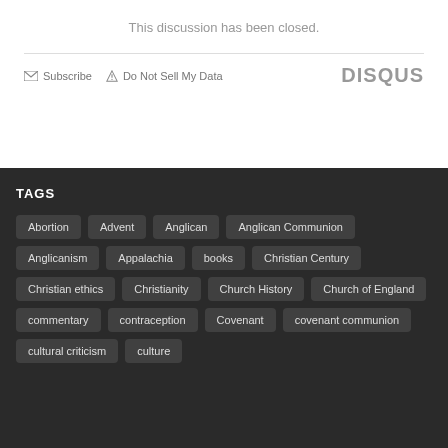This discussion has been closed.
Subscribe   Do Not Sell My Data   DISQUS
TAGS
Abortion
Advent
Anglican
Anglican Communion
Anglicanism
Appalachia
books
Christian Century
Christian ethics
Christianity
Church History
Church of England
commentary
contraception
Covenant
covenant communion
cultural criticism
culture